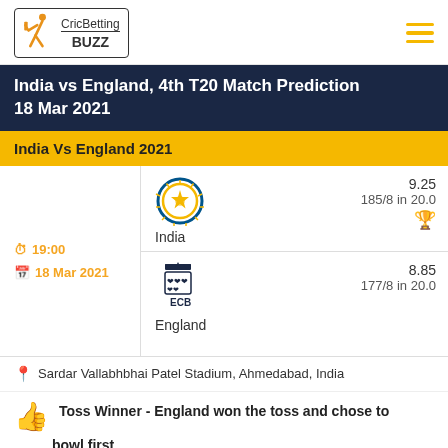CricBetting BUZZ
India vs England, 4th T20 Match Prediction 18 Mar 2021
India Vs England 2021
|  | Team | Odds | Score |
| --- | --- | --- | --- |
| 19:00 / 18 Mar 2021 | India | 9.25 | 185/8 in 20.0 |
|  | England | 8.85 | 177/8 in 20.0 |
Sardar Vallabhbhai Patel Stadium, Ahmedabad, India
Toss Winner - England won the toss and chose to bowl first